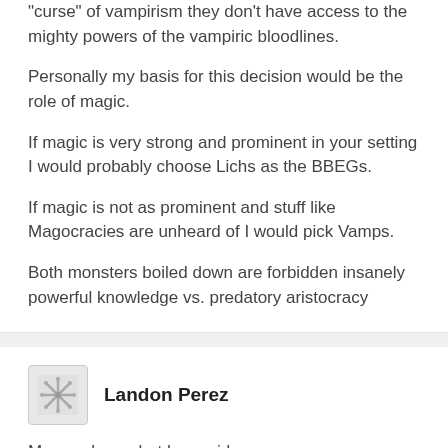"curse" of vampirism they don't have access to the mighty powers of the vampiric bloodlines.
Personally my basis for this decision would be the role of magic.
If magic is very strong and prominent in your setting I would probably choose Lichs as the BBEGs.
If magic is not as prominent and stuff like Magocracies are unheard of I would pick Vamps.
Both monsters boiled down are forbidden insanely powerful knowledge vs. predatory aristocracy
[Figure (illustration): Avatar icon for user Landon Perez — small gray pixelated/geometric snowflake-like icon]
Landon Perez
More or less what has said.
I know in Forgotten Realms liches tend to be written as stronger, and even sometimes controlling vampires, but even there is an exception of a vampire lord who runs an entire nation with beholder generals, and presumably other powerful beings under his control in the far south-